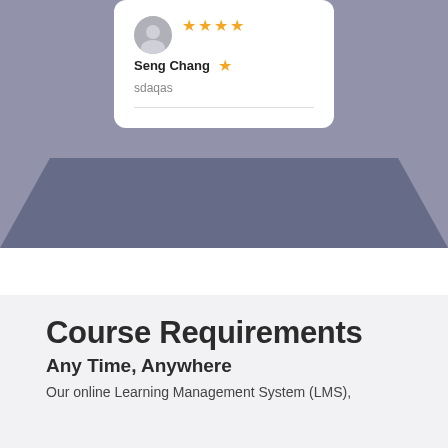[Figure (illustration): A review card on a purple/slate background showing a user avatar (gray circle), a row of 4 gold stars, bold name 'Seng Chang', a single gold star, review text 'sdaqas', and a horizontal divider line. Below the card is a dark slate trapezoid shape.]
Course Requirements
Any Time, Anywhere
Our online Learning Management System (LMS),